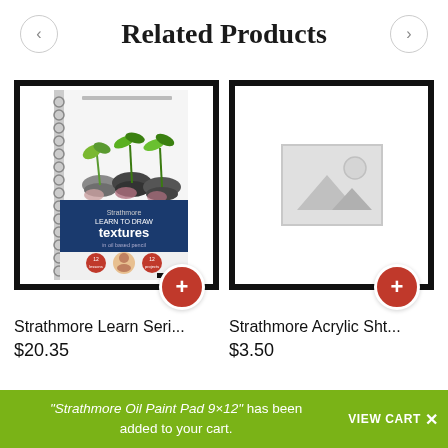Related Products
[Figure (photo): Product image of Strathmore Learn Series book showing textured plant photos on cover with 'textures' title]
Strathmore Learn Seri...
$20.35
[Figure (photo): Placeholder image with gray mountain/sun icon indicating no product image available]
Strathmore Acrylic Sht...
$3.50
"Strathmore Oil Paint Pad 9×12" has been added to your cart. VIEW CART ×